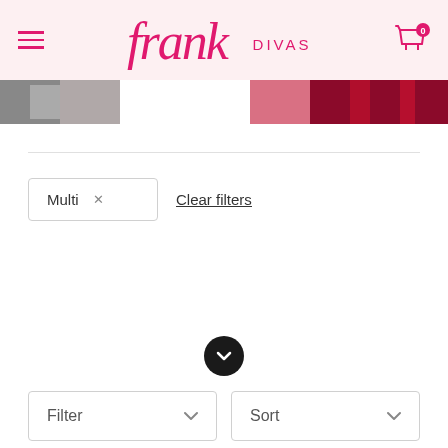[Figure (screenshot): Frank Divas e-commerce website header with hamburger menu, script logo and shopping cart icon]
[Figure (photo): Partial product banner image strip showing clothing items in red and monochrome]
Multi × Clear filters
[Figure (other): Dark circular scroll-down button with downward chevron arrow]
Filter ▾
Sort ▾